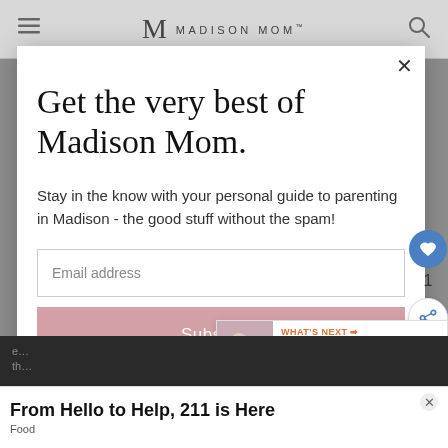MADISON MOM
Get the very best of Madison Mom.
Stay in the know with your personal guide to parenting in Madison - the good stuff without the spam!
Email address
Subscribe
WHAT'S NEXT → 10 Gift Ideas for Second-...
1
From Hello to Help, 211 is Here
Food